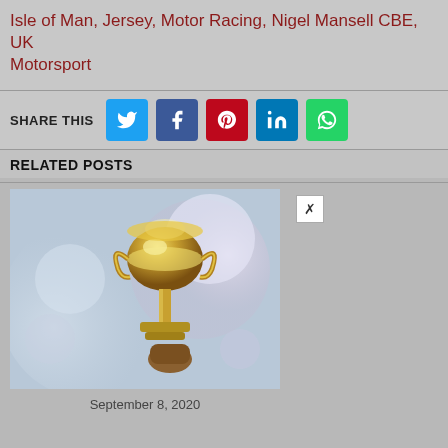Isle of Man, Jersey, Motor Racing, Nigel Mansell CBE, UK Motorsport
SHARE THIS
RELATED POSTS
[Figure (photo): A gold trophy cup being held up against a soft blurry background with bokeh light effects]
September 8, 2020